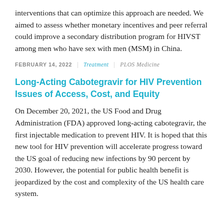interventions that can optimize this approach are needed. We aimed to assess whether monetary incentives and peer referral could improve a secondary distribution program for HIVST among men who have sex with men (MSM) in China.
FEBRUARY 14, 2022 | Treatment | PLOS Medicine
Long-Acting Cabotegravir for HIV Prevention Issues of Access, Cost, and Equity
On December 20, 2021, the US Food and Drug Administration (FDA) approved long-acting cabotegravir, the first injectable medication to prevent HIV. It is hoped that this new tool for HIV prevention will accelerate progress toward the US goal of reducing new infections by 90 percent by 2030. However, the potential for public health benefit is jeopardized by the cost and complexity of the US health care system.